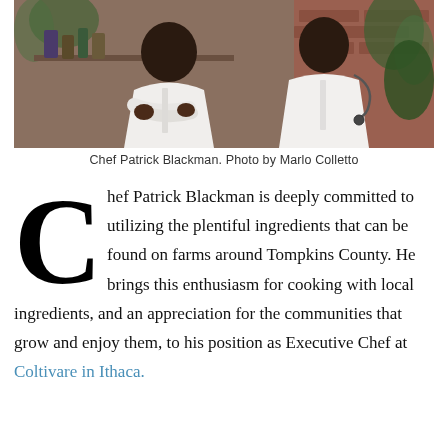[Figure (photo): Chef Patrick Blackman in white chef coat, arms crossed, standing in front of greenery and shelves with bottles. Two chefs visible.]
Chef Patrick Blackman. Photo by Marlo Colletto
Chef Patrick Blackman is deeply committed to utilizing the plentiful ingredients that can be found on farms around Tompkins County. He brings this enthusiasm for cooking with local ingredients, and an appreciation for the communities that grow and enjoy them, to his position as Executive Chef at Coltivare in Ithaca.